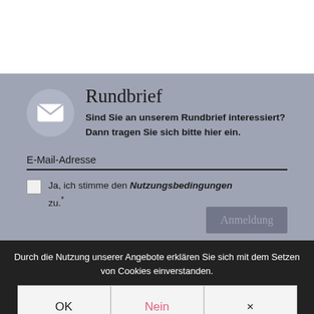Rundbrief
Sind Sie an unserem Rundbrief interessiert?
Dann tragen Sie sich bitte hier ein.
E-Mail-Adresse
Ja, ich stimme den Nutzungsbedingungen zu.*
Durch die Nutzung unserer Angebote erklären Sie sich mit dem Setzen von Cookies einverstanden.
OK
Nein
×